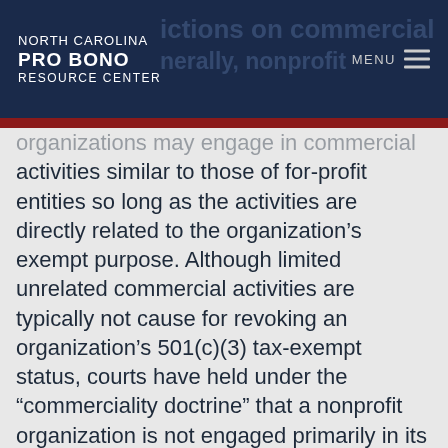NORTH CAROLINA PRO BONO RESOURCE CENTER
organizations may engage in commercial activities similar to those of for-profit entities so long as the activities are directly related to the organization's exempt purpose. Although limited unrelated commercial activities are typically not cause for revoking an organization's 501(c)(3) tax-exempt status, courts have held under the "commerciality doctrine" that a nonprofit organization is not engaged primarily in its exempt purpose if the organization engages in too much commercial activity. Courts and the IRS have been inconsistent on the question of how